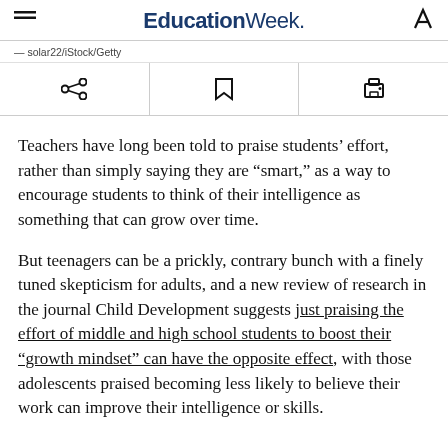EducationWeek.
— solar22/iStock/Getty
Teachers have long been told to praise students' effort, rather than simply saying they are “smart,” as a way to encourage students to think of their intelligence as something that can grow over time.
But teenagers can be a prickly, contrary bunch with a finely tuned skepticism for adults, and a new review of research in the journal Child Development suggests just praising the effort of middle and high school students to boost their “growth mindset” can have the opposite effect, with those adolescents praised becoming less likely to believe their work can improve their intelligence or skills.